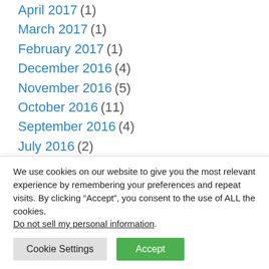April 2017 (1)
March 2017 (1)
February 2017 (1)
December 2016 (4)
November 2016 (5)
October 2016 (11)
September 2016 (4)
July 2016 (2)
June 2016 (4)
We use cookies on our website to give you the most relevant experience by remembering your preferences and repeat visits. By clicking “Accept”, you consent to the use of ALL the cookies. Do not sell my personal information.
Cookie Settings | Accept